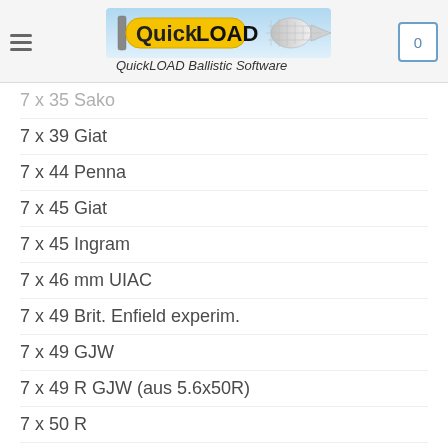QuickLOAD Ballistic Software
7 x 35 Sako
7 x 39 Giat
7 x 44 Penna
7 x 45 Giat
7 x 45 Ingram
7 x 46 mm UIAC
7 x 49 Brit. Enfield experim.
7 x 49 GJW
7 x 49 R GJW (aus 5.6x50R)
7 x 50 R
7 x 53 R Finn.
7 x 54 Finnish
7 x 54 Fournier
7 x 57 R
7 x 57 mm Ack. Imp.
7 x 57 ...